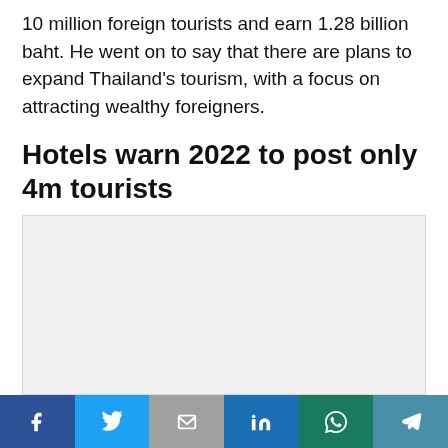10 million foreign tourists and earn 1.28 billion baht. He went on to say that there are plans to expand Thailand’s tourism, with a focus on attracting wealthy foreigners.
Hotels warn 2022 to post only 4m tourists
[Figure (other): Large light grey placeholder image area below the section header]
Social share bar: Facebook, Twitter, Email, LinkedIn, WhatsApp, Telegram